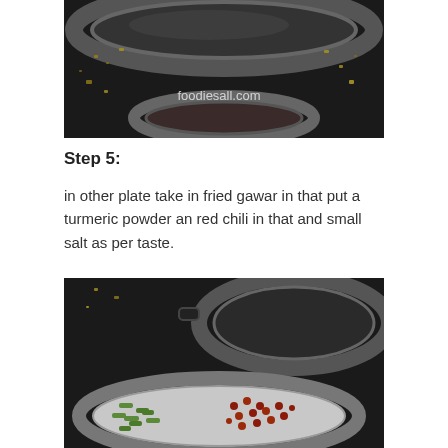[Figure (photo): Top-down photo of cooking pans on a dark stove surface with spices and food remnants, watermark 'foodiesall.com' visible]
Step 5:
in other plate take in fried gawar in that put a turmeric powder an red chili in that and small salt as per taste.
[Figure (photo): Top-down photo of a silver plate containing chopped green beans and dried red spices/berries on a dark stove surface]